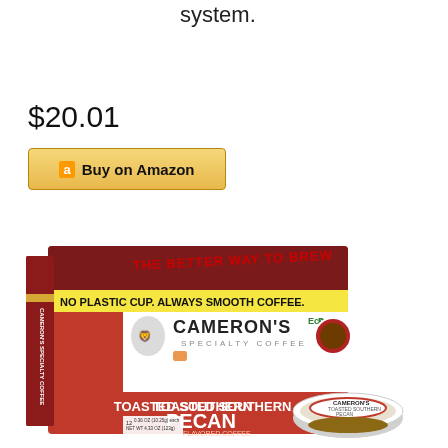system.
$20.01
Buy on Amazon
[Figure (photo): Cameron's Specialty Coffee Toasted Southern Pecan flavored coffee EcoPod box, 12 pods, 0.36 oz (10.25g) each, NET WT 4.33 OZ (123g), with an individual pod shown in front. Box is red and white with yellow banner reading NO PLASTIC CUP. ALWAYS SMOOTH COFFEE.]